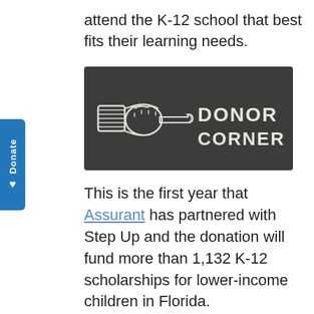attend the K-12 school that best fits their learning needs.
[Figure (illustration): Chalkboard-style banner image with a hand pointing right and chalk text reading 'DONOR CORNER']
This is the first year that Assurant has partnered with Step Up and the donation will fund more than 1,132 K-12 scholarships for lower-income children in Florida.
“At Assurant, our core values of common sense, common decency, uncommon thinking, and uncommon results inspire our commitment to be a responsible corporate